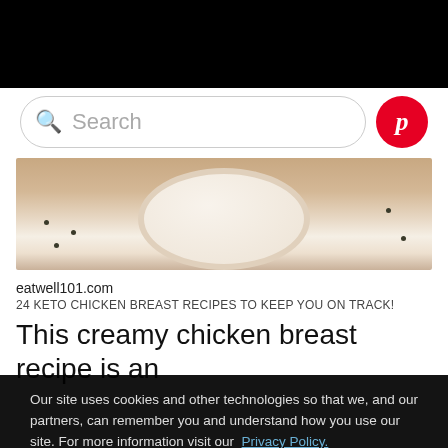[Figure (screenshot): Search bar with green magnifying glass icon and placeholder text 'Search', alongside a red circular Pinterest button with white 'p' logo]
[Figure (photo): Partial overhead photo of a creamy chicken dish in a white plate on a brown/tan background]
eatwell101.com
24 KETO CHICKEN BREAST RECIPES TO KEEP YOU ON TRACK!
This creamy chicken breast recipe is an
Our site uses cookies and other technologies so that we, and our partners, can remember you and understand how you use our site. For more information visit our Privacy Policy.
OK